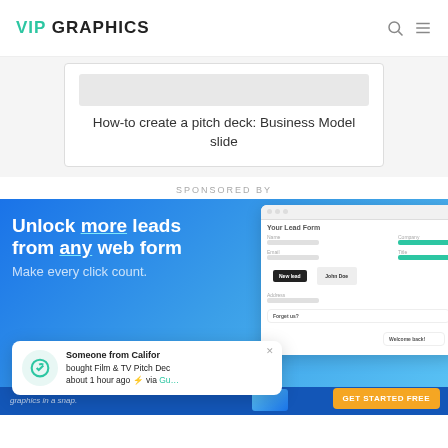VIP GRAPHICS
How-to create a pitch deck: Business Model slide
SPONSORED BY
[Figure (screenshot): Ad banner for a lead generation tool. Headline: 'Unlock more leads from any web form'. Subtext: 'Make every click count.' Shows a UI mockup with lead form on the right, and notification popup at bottom left: 'Someone from California bought Film & TV Pitch Dec... about 1 hour ago ⚡ via Gu...' with a GET STARTED FREE button.]